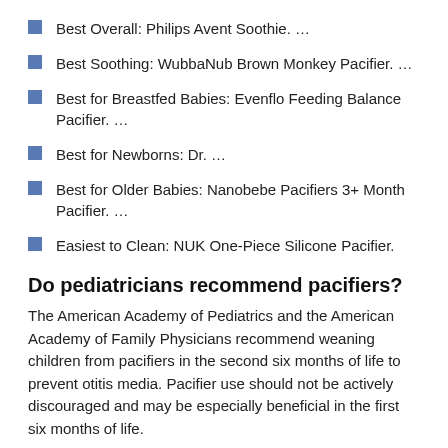Best Overall: Philips Avent Soothie. …
Best Soothing: WubbaNub Brown Monkey Pacifier. …
Best for Breastfed Babies: Evenflo Feeding Balance Pacifier. …
Best for Newborns: Dr. …
Best for Older Babies: Nanobebe Pacifiers 3+ Month Pacifier. …
Easiest to Clean: NUK One-Piece Silicone Pacifier.
Do pediatricians recommend pacifiers?
The American Academy of Pediatrics and the American Academy of Family Physicians recommend weaning children from pacifiers in the second six months of life to prevent otitis media. Pacifier use should not be actively discouraged and may be especially beneficial in the first six months of life.